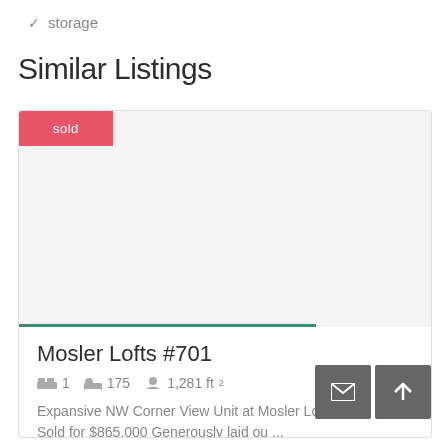✓ storage
Similar Listings
[Figure (other): Listing card for Mosler Lofts #701 with a sold badge, blank image area with a green progress bar, property title, bed/bath/sqft metadata, and a description excerpt.]
Mosler Lofts #701
1  175  1,281 ft²
Expansive NW Corner View Unit at Mosler Lofts – Sold for $865,000 Generously laid ou ...